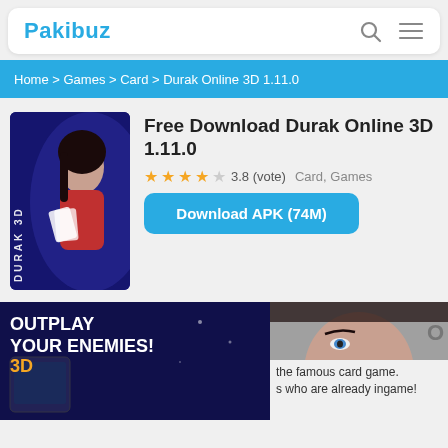Pakibuz
Home > Games > Card > Durak Online 3D 1.11.0
Free Download Durak Online 3D 1.11.0
★★★★☆ 3.8 (vote)  Card, Games
Download APK (74M)
[Figure (screenshot): Durak 3D app icon showing a woman holding playing cards with 'DURAK 3D' text on dark blue background]
[Figure (screenshot): Game screenshot showing 'OUTPLAY YOUR ENEMIES! 3D' text with phone showing gameplay, and partial face of woman]
the famous card game. s who are already ingame!